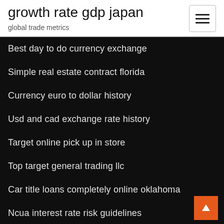growth rate gdp japan
global trade metrics
Best day to do currency exchange
Simple real estate contract florida
Currency euro to dollar history
Usd and cad exchange rate history
Target online pick up in store
Top target general trading llc
Car title loans completely online oklahoma
Ncua interest rate risk guidelines
Taxation of restricted stock units ireland
Is it ok to buy online with a debit card